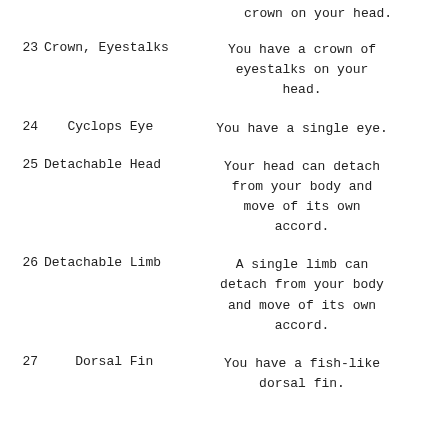crown on your head.
23  Crown, Eyestalks  You have a crown of eyestalks on your head.
24  Cyclops Eye  You have a single eye.
25  Detachable Head  Your head can detach from your body and move of its own accord.
26  Detachable Limb  A single limb can detach from your body and move of its own accord.
27  Dorsal Fin  You have a fish-like dorsal fin.